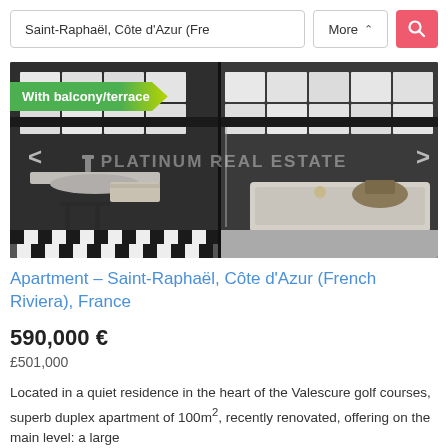Saint-Raphaël, Côte d'Azur (Fre...
More ▾
[Figure (photo): Bathroom interior of an apartment with white tiled walls, a sink, shower, and bathtub. A green and yellow banner reads 'With balcony/terrace'. Watermark reads 'PLATINUM REAL ESTATE'.]
Apartment – Saint-Raphaël, Côte d'Azur (French Riviera), France
590,000 €
£501,000
Located in a quiet residence in the heart of the Valescure golf courses, superb duplex apartment of 100m², recently renovated, offering on the main level: a large